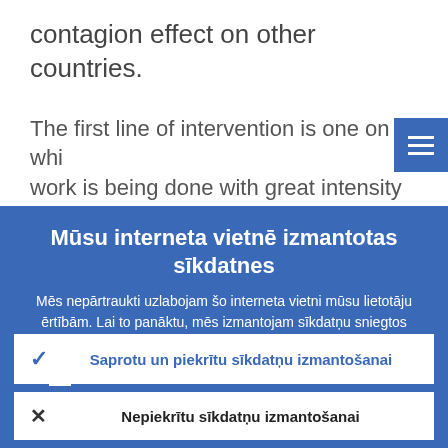contagion effect on other countries.
The first line of intervention is one on whi work is being done with great intensity ar
[Figure (screenshot): Blue hamburger menu icon button in top right corner]
Mūsu interneta vietnē izmantotas sīkdatnes
Mēs nepārtraukti uzlabojam šo interneta vietni mūsu lietotāju ērtībām. Lai to panāktu, mēs izmantojam sīkdatņu sniegtos anonīmos datus.
› Sīkāka informācija par sīkdatņu izmantošanu
Saprotu un piekrītu sīkdatņu izmantošanai
Nepiekrītu sīkdatņu izmantošanai